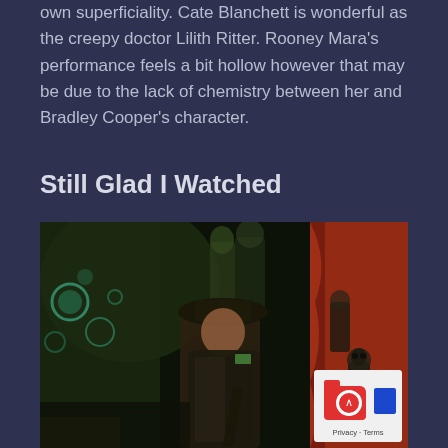own superficiality. Cate Blanchett is wonderful as the creepy doctor Lilith Ritter. Rooney Mara's performance feels a bit hollow however that may be due to the lack of chemistry between her and Bradley Cooper's character.
Still Glad I Watched
[Figure (photo): A movie still showing a man in a dark hat and leather jacket crouching or standing in a dimly lit scene with mysterious figures and statues in the background, and red fabric visible on the right side. A privacy/terms badge is overlaid in the bottom right corner.]